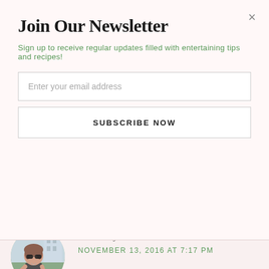Join Our Newsletter
Sign up to receive regular updates filled with entertaining tips and recipes!
Enter your email address
SUBSCRIBE NOW
These sound great, but how much is a "cube" of butter?
Reply
Renee says
NOVEMBER 13, 2016 AT 7:17 PM
[Figure (photo): Circular avatar photo of a woman named Renee wearing sunglasses, standing outdoors]